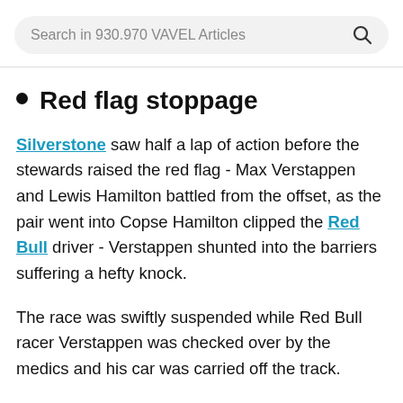Search in 930.970 VAVEL Articles
Red flag stoppage
Silverstone saw half a lap of action before the stewards raised the red flag - Max Verstappen and Lewis Hamilton battled from the offset, as the pair went into Copse Hamilton clipped the Red Bull driver - Verstappen shunted into the barriers suffering a hefty knock.
The race was swiftly suspended while Red Bull racer Verstappen was checked over by the medics and his car was carried off the track.